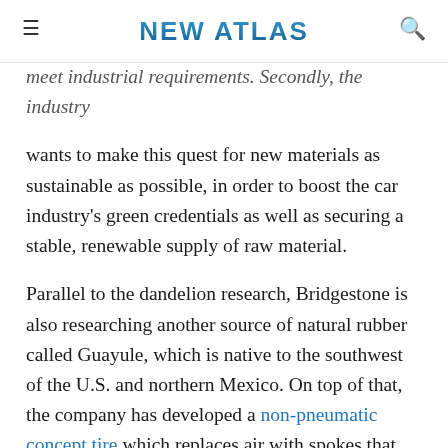NEW ATLAS
meet industrial requirements. Secondly, the industry wants to make this quest for new materials as sustainable as possible, in order to boost the car industry's green credentials as well as securing a stable, renewable supply of raw material.
Parallel to the dandelion research, Bridgestone is also researching another source of natural rubber called Guayule, which is native to the southwest of the U.S. and northern Mexico. On top of that, the company has developed a non-pneumatic concept tire which replaces air with spokes that stretch the inner surfaces of the tires to support the weight of the vehicle. This type of tire requires less maintenance and drivers will finally be able to say au